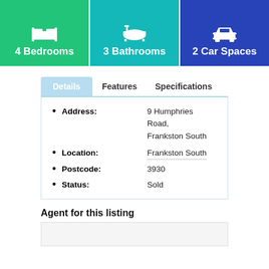[Figure (infographic): Three property feature tiles: 4 Bedrooms (green), 3 Bathrooms (teal), 2 Car Spaces (blue), each with a white icon above the label]
Details	Features	Specifications
Address: 9 Humphries Road, Frankston South
Location: Frankston South
Postcode: 3930
Status: Sold
Agent for this listing